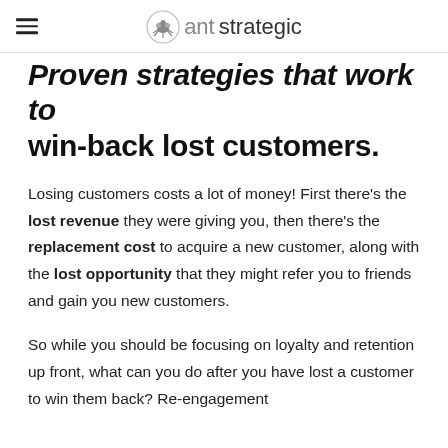ant strategic
Proven strategies that work to win-back lost customers.
Losing customers costs a lot of money! First there's the lost revenue they were giving you, then there's the replacement cost to acquire a new customer, along with the lost opportunity that they might refer you to friends and gain you new customers.
So while you should be focusing on loyalty and retention up front, what can you do after you have lost a customer to win them back? Re-engagement